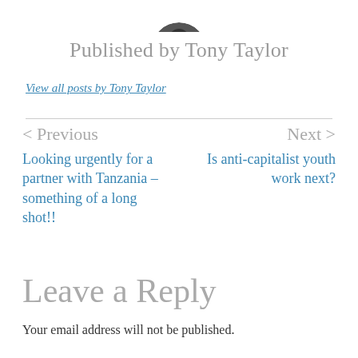[Figure (photo): Circular cropped author photo of Tony Taylor, partially visible at top of page]
Published by Tony Taylor
View all posts by Tony Taylor
< Previous
Next >
Looking urgently for a partner with Tanzania – something of a long shot!!
Is anti-capitalist youth work next?
Leave a Reply
Your email address will not be published.